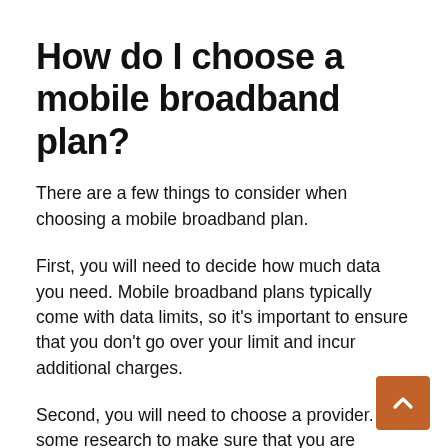How do I choose a mobile broadband plan?
There are a few things to consider when choosing a mobile broadband plan.
First, you will need to decide how much data you need. Mobile broadband plans typically come with data limits, so it's important to ensure that you don't go over your limit and incur additional charges.
Second, you will need to choose a provider. Do some research to make sure that you are signing up for service with a company that has a good reputation and offers quality customer support.